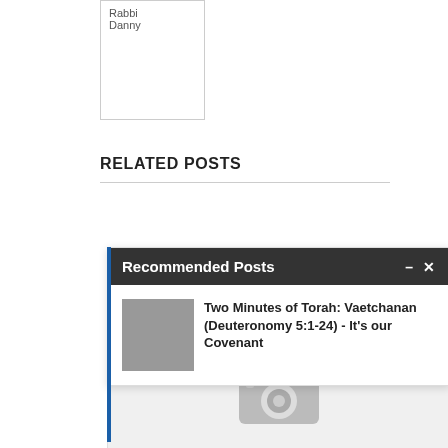[Figure (photo): Rabbi Danny image placeholder with alt text 'Rabbi Danny' shown in upper-left area]
RELATED POSTS
[Figure (screenshot): Recommended Posts popup widget with dark header bar showing title 'Recommended Posts' with minimize (–) and close (X) controls. Contains a thumbnail placeholder and link titled 'Two Minutes of Torah: Vaetchanan (Deuteronomy 5:1-24) - It's our Covenant']
[Figure (photo): Blank/placeholder card with camera icon, representing a related post image]